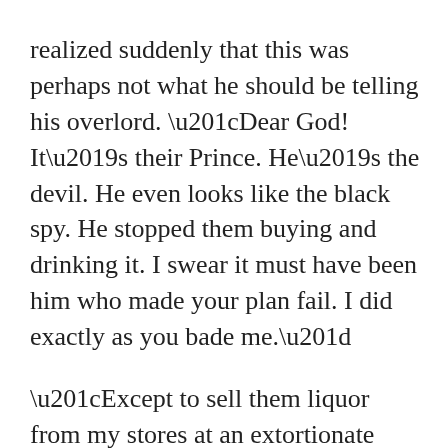realized suddenly that this was perhaps not what he should be telling his overlord. “Dear God! It’s their Prince. He’s the devil. He even looks like the black spy. He stopped them buying and drinking it. I swear it must have been him who made your plan fail. I did exactly as you bade me.”
“Except to sell them liquor from my stores at an extortionate price. Which you somehow omitted to tell me,” said Emeric coldly. He detested merchants. Chaffering scum. They always cheated him of his due. Well, sometimes it was important to remind them that a nobleman took at the sword’s point.
“Honestly, Your Majesty, I had to do that,” he babbled. “They would have known I was a spy otherwise. Anyone else would have done...